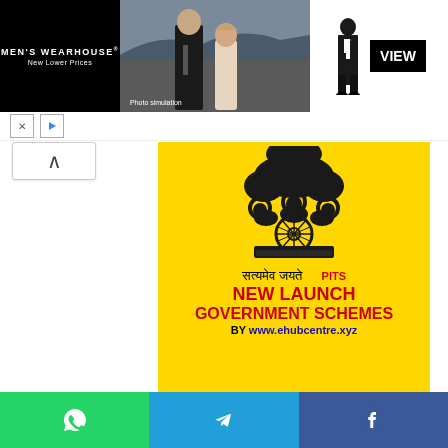[Figure (screenshot): Men's Wearhouse advertisement banner showing a couple in formal wear on black background with VIEW button]
[Figure (infographic): Government of India Ashoka emblem with Satyamev Jayate text and PITS label, NEW LAUNCH GOVERNMENT SCHEMES BY www.ehubcentre.xyz on yellow background]
Bin-Sachivalay Clerk Syllabus – 2019
1. Written Exam Syllabus of Bin-Sachivalay Clerk
Public Administration and Indian Constitution: ~ Mark-50
[Figure (infographic): Social sharing bar with WhatsApp, Telegram, and Facebook icons]